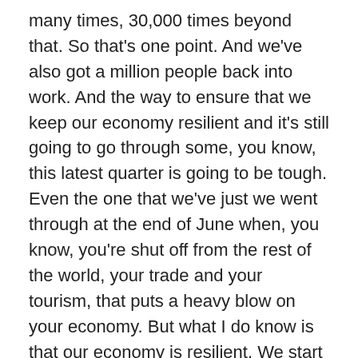many times, 30,000 times beyond that. So that's one point. And we've also got a million people back into work. And the way to ensure that we keep our economy resilient and it's still going to go through some, you know, this latest quarter is going to be tough. Even the one that we've just we went through at the end of June when, you know, you're shut off from the rest of the world, your trade and your tourism, that puts a heavy blow on your economy. But what I do know is that our economy is resilient. We start opening up again. We start lifting the restrictions. We start opening up to the rest of the world. Our economy will roar back.
O'LOUGHLIN: And you know that, I mean, Tasmania is